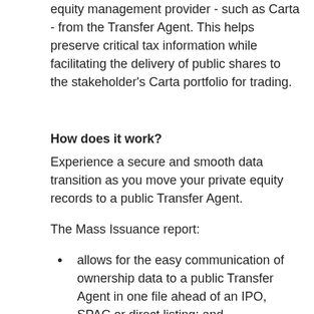equity management provider - such as Carta - from the Transfer Agent. This helps preserve critical tax information while facilitating the delivery of public shares to the stakeholder's Carta portfolio for trading.
How does it work?
Experience a secure and smooth data transition as you move your private equity records to a public Transfer Agent.
The Mass Issuance report:
allows for the easy communication of ownership data to a public Transfer Agent in one file ahead of an IPO, SPAC or direct listing; and